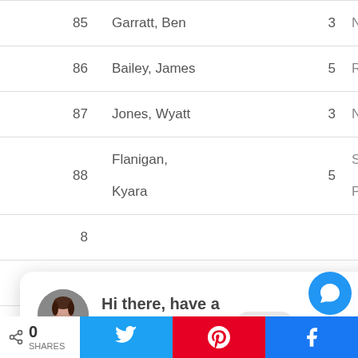| # | Name | Score | ... |
| --- | --- | --- | --- |
| 85 | Garratt, Ben | 3 | N |
| 86 | Bailey, James | 5 | R |
| 87 | Jones, Wyatt | 3 | N |
| 88 | Flanigan, Kyara | 5 | S / P |
| 8_ |  |  |  |
| 90 | Aishwarya | 5 | R |
[Figure (screenshot): Chat popup with avatar: 'Hi there, have a question? Text us here.' and a close button. Bottom bar with share count 0, Twitter button, Pinterest button, and blue button. Chat icon (blue circle with speech bubble).]